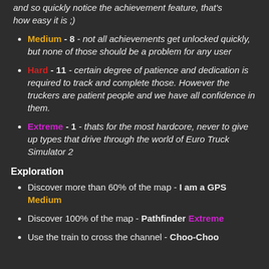and so quickly notice the achievement feature, that's how easy it is ;)
Medium - 8 - not all achievements get unlocked quickly, but none of those should be a problem for any user
Hard - 11 - certain degree of patience and dedication is required to track and complete those. However the truckers are patient people and we have all confidence in them.
Extreme - 1 - thats for the most hardcore, never to give up types that drive through the world of Euro Truck Simulator 2
Exploration
Discover more than 60% of the map - I am a GPS Medium
Discover 100% of the map - Pathfinder Extreme
Use the train to cross the channel - Choo-Choo